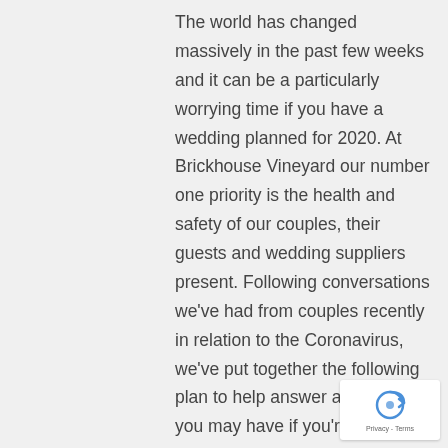The world has changed massively in the past few weeks and it can be a particularly worrying time if you have a wedding planned for 2020. At Brickhouse Vineyard our number one priority is the health and safety of our couples, their guests and wedding suppliers present. Following conversations we've had from couples recently in relation to the Coronavirus, we've put together the following plan to help answer any queries you may have if you're getting married at Brickhouse Vineyard this year.

On 23rd March the Government made a new announcement explaining that
[Figure (logo): Google reCAPTCHA badge with spinning arrow icon and Privacy - Terms text]